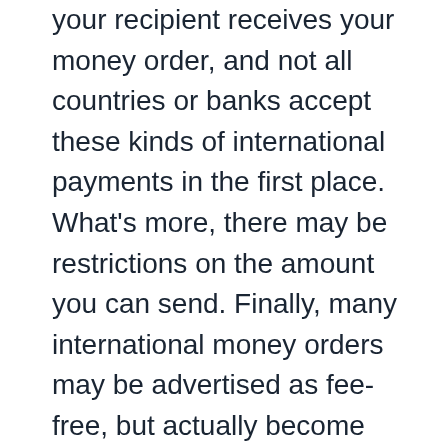your recipient receives your money order, and not all countries or banks accept these kinds of international payments in the first place. What's more, there may be restrictions on the amount you can send. Finally, many international money orders may be advertised as fee-free, but actually become more expensive through poor exchange rates.
Each provider will vary in terms of transfer fees, delivery speed, and even